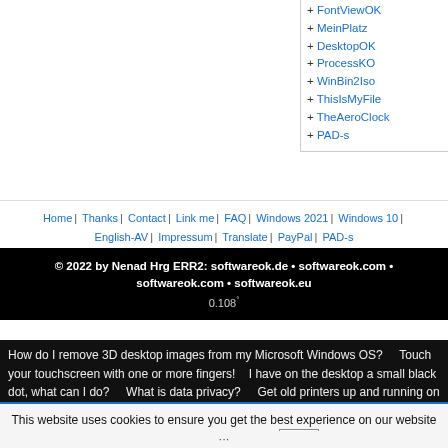+ FontViewOK
+ MeinPlatz
+ DesktopOK
+ ProcessKO
+ WinBin2Iso
+ ThisIsMyFile
+ TheAeroClock
+ PAD-s
Home | Thanks | Contact | Link me | FAQ | Windows 2021 | Windows 10 | English-AV | Impressum | Translate | PayPal | PAD-s
© 2022 by Nenad Hrg ERR2: softwareok.de • softwareok.com • softwareok.com • softwareok.eu
0.108
How do I remove 3D desktop images from my Microsoft Windows OS?  Touch your touchscreen with one or more fingers!  I have on the desktop a small black dot, what can I do?  What is data privacy?  Get old printers up and running on Windows 11 o
This website uses cookies to ensure you get the best experience on our website more Infos & Privacy Policy  OK